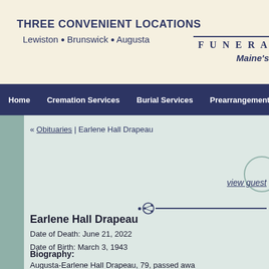THREE CONVENIENT LOCATIONS
Lewiston • Brunswick • Augusta
FUNERA
Maine's
Home | Cremation Services | Burial Services | Prearrangements
« Obituaries | Earlene Hall Drapeau
view guest
Earlene Hall Drapeau
Date of Death: June 21, 2022
Date of Birth: March 3, 1943
Biography:
Augusta-Earlene Hall Drapeau, 79, passed awa